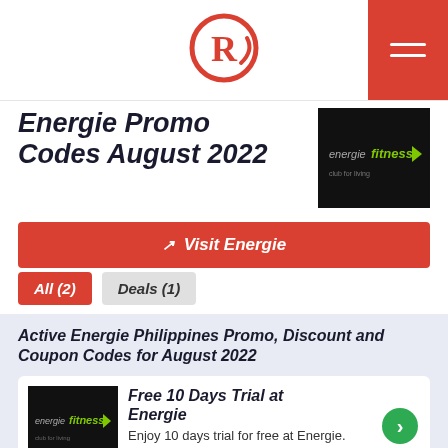Rappler logo header with hamburger menu
Energie Promo Codes August 2022
[Figure (logo): Energie Fitness brand logo on black background]
Visit Energie
All (2)
Deals (1)
Active Energie Philippines Promo, Discount and Coupon Codes for August 2022
[Figure (logo): Energie Fitness brand logo on black background (deal card)]
Free 10 Days Trial at Energie
Enjoy 10 days trial for free at Energie.